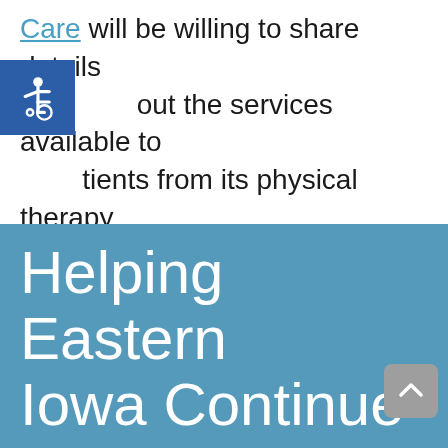Care will be willing to share details about the services available to patients from its physical therapy team.
[Figure (illustration): Accessibility icon - white wheelchair symbol on dark blue square background]
Helping Eastern Iowa Continue